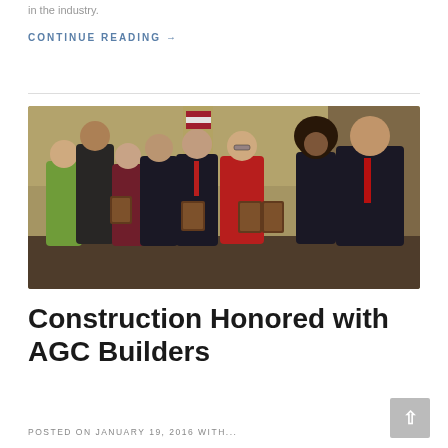in the industry.
CONTINUE READING →
[Figure (photo): Group photo of approximately 8-9 people standing together in a formal setting, several holding award plaques. An American flag is visible in the background. The setting appears to be an indoor banquet or awards ceremony.]
Construction Honored with AGC Builders
POSTED ON JANUARY 19, 2016 WITH...